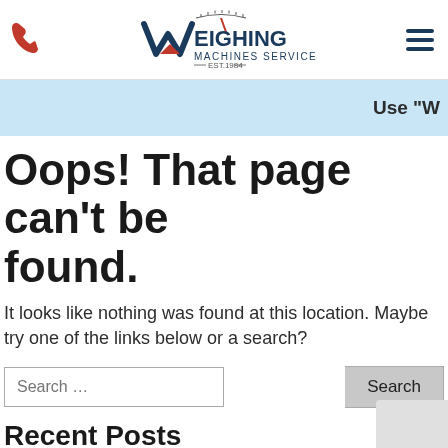[Figure (logo): Weighing Machines Services logo with phone icon and hamburger menu]
Use "W
Oops! That page can't be found.
It looks like nothing was found at this location. Maybe try one of the links below or a search?
Search ...
Recent Posts
Hello world!
Most Used Categories